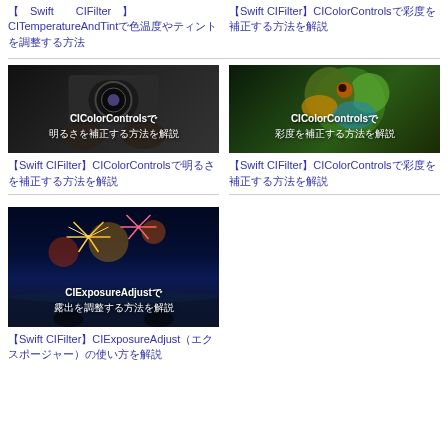【Swift CIFilter】CITemperatureAndTintで色温度やティントを調整する方法
【Swift CIFilter】CIColorControlsで彩度を補正する方法を解説
[Figure (photo): Dark background showing hands holding a vintage camera with text overlay: CIColorControlsで明るさを補正する方法を解説]
【Swift CIFilter】CIColorControlsで明るさを補正する方法を解説
[Figure (photo): Close-up of a colorful parrot head on dark background with text overlay: CIColorControlsで彩度を補正する方法を解説]
【Swift CIFilter】CIColorControlsで彩度を補正する方法を解説
[Figure (photo): Fireworks night scene with silhouettes and text overlay: CIExposureAdjustで露出を調整する方法を解説]
【Swift CIFilter】CIExposureAdjust（エクスポージャー）の使い方を解説